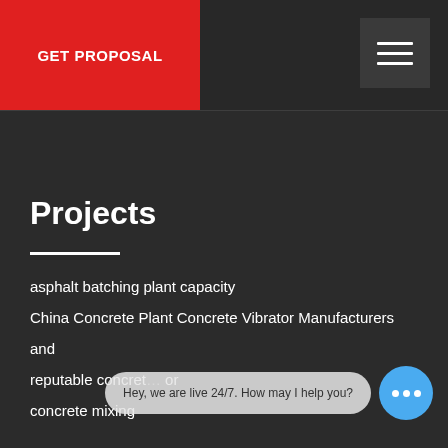GET PROPOSAL
[Figure (other): Hamburger menu icon with three horizontal white bars on a dark grey square background]
Projects
asphalt batching plant capacity
China Concrete Plant Concrete Vibrator Manufacturers
and
reputable concret… or
concrete mixing
Hey, we are live 24/7. How may I help you?